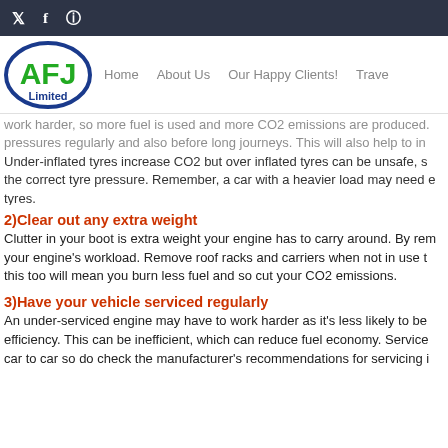Social media icons: Twitter, Facebook, Instagram
[Figure (logo): AFJ Limited logo — oval with blue border, green AFJ text, blue Limited text below]
Home   About Us   Our Happy Clients!   Travel
work harder, so more fuel is used and more CO2 emissions are produced. pressures regularly and also before long journeys. This will also help to in Under-inflated tyres increase CO2 but over inflated tyres can be unsafe, s the correct tyre pressure. Remember, a car with a heavier load may need e tyres.
2)Clear out any extra weight
Clutter in your boot is extra weight your engine has to carry around. By rem your engine's workload. Remove roof racks and carriers when not in use t this too will mean you burn less fuel and so cut your CO2 emissions.
3)Have your vehicle serviced regularly
An under-serviced engine may have to work harder as it's less likely to be efficiency. This can be inefficient, which can reduce fuel economy. Service car to car so do check the manufacturer's recommendations for servicing i